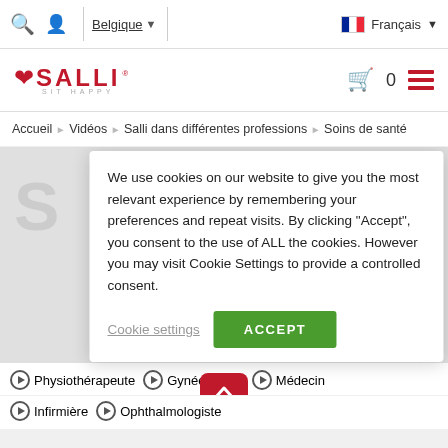Belgique | Français
[Figure (logo): Salli sit happy logo in red with heart icon]
Accueil › Vidéos › Salli dans différentes professions › Soins de santé
We use cookies on our website to give you the most relevant experience by remembering your preferences and repeat visits. By clicking "Accept", you consent to the use of ALL the cookies. However you may visit Cookie Settings to provide a controlled consent.
Cookie settings | ACCEPT
Physiothérapeute  Gynécologue  Médecin  Infirmière  Ophthalmologiste